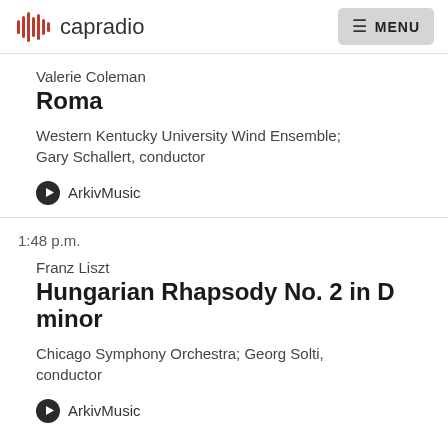capradio | MENU
Valerie Coleman
Roma
Western Kentucky University Wind Ensemble; Gary Schallert, conductor
ArkivMusic
1:48 p.m.
Franz Liszt
Hungarian Rhapsody No. 2 in D minor
Chicago Symphony Orchestra; Georg Solti, conductor
ArkivMusic